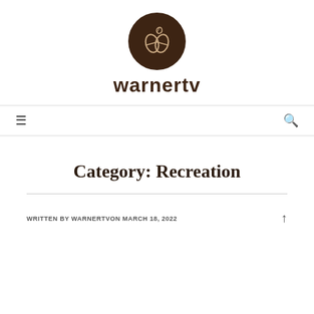[Figure (logo): Circular dark brown logo with coffee bean/leaf illustration for warnertv]
warnertv
[Figure (other): Navigation bar with hamburger menu icon on left and search icon on right]
Category: Recreation
WRITTEN BY WARNERTVON MARCH 18, 2022